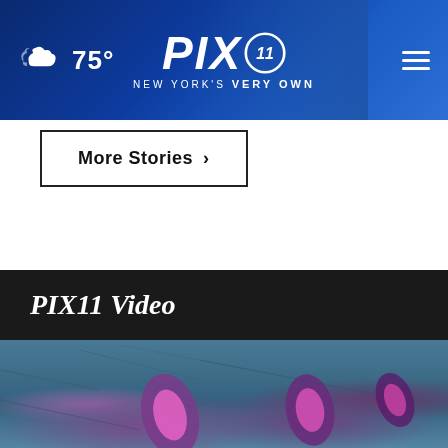PIX11 - NEW YORK'S VERY OWN | 75°
More Stories ›
PIX11 Video
[Figure (screenshot): Video thumbnail showing a microscope image of parasites/worm larvae in tissue with pink/purple oval shapes against a blue-green teal background. A play button is visible on the left and a share icon on the upper right.]